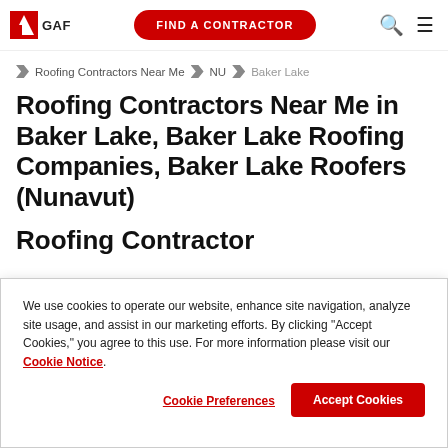GAF | FIND A CONTRACTOR
Roofing Contractors Near Me > NU > Baker Lake
Roofing Contractors Near Me in Baker Lake, Baker Lake Roofing Companies, Baker Lake Roofers (Nunavut)
We use cookies to operate our website, enhance site navigation, analyze site usage, and assist in our marketing efforts. By clicking "Accept Cookies," you agree to this use. For more information please visit our Cookie Notice.
Cookie Preferences | Accept Cookies